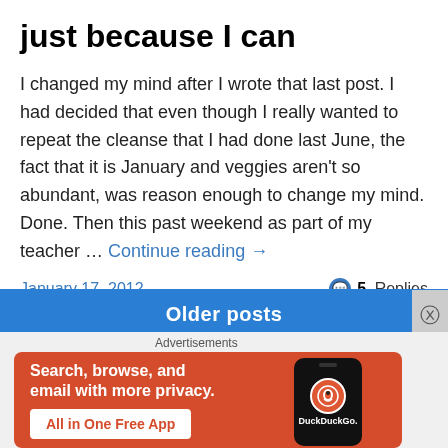just because I can
I changed my mind after I wrote that last post. I had decided that even though I really wanted to repeat the cleanse that I had done last June, the fact that it is January and veggies aren't so abundant, was reason enough to change my mind. Done. Then this past weekend as part of my teacher … Continue reading →
January 17, 2012   💬 5 Replies
Older posts
Advertisements
[Figure (infographic): DuckDuckGo advertisement banner: orange background with text 'Search, browse, and email with more privacy. All in One Free App' and a smartphone showing the DuckDuckGo logo]